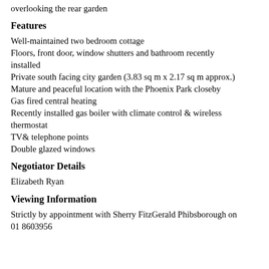overlooking the rear garden
Features
Well-maintained two bedroom cottage
Floors, front door, window shutters and bathroom recently installed
Private south facing city garden (3.83 sq m x 2.17 sq m approx.)
Mature and peaceful location with the Phoenix Park closeby
Gas fired central heating
Recently installed gas boiler with climate control & wireless thermostat
TV& telephone points
Double glazed windows
Negotiator Details
Elizabeth Ryan
Viewing Information
Strictly by appointment with Sherry FitzGerald Phibsborough on 01 8603956